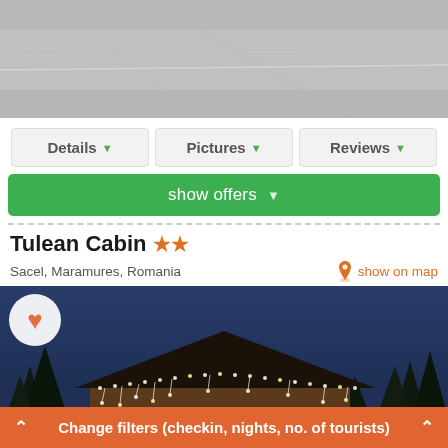[Figure (photo): Top portion of a road/surface photo, partially visible at the top of the screen]
Details ▾
Pictures ▾
Reviews ▾
show offers ▾
Tulean Cabin ★★
Sacel, Maramures, Romania
show on map
[Figure (photo): Wooden cabin decorated with Christmas lights at dusk, surrounded by pine trees]
Change filters (checkin, nights, no. of tourists)